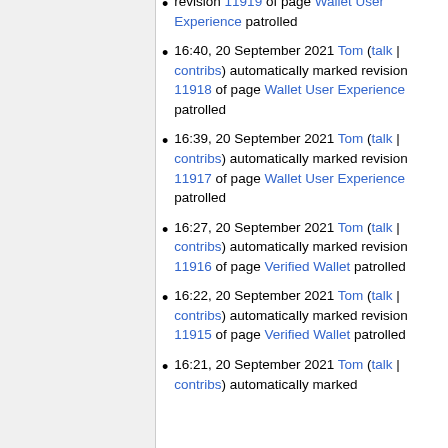revision 11919 of page Wallet User Experience patrolled
16:40, 20 September 2021 Tom (talk | contribs) automatically marked revision 11918 of page Wallet User Experience patrolled
16:39, 20 September 2021 Tom (talk | contribs) automatically marked revision 11917 of page Wallet User Experience patrolled
16:27, 20 September 2021 Tom (talk | contribs) automatically marked revision 11916 of page Verified Wallet patrolled
16:22, 20 September 2021 Tom (talk | contribs) automatically marked revision 11915 of page Verified Wallet patrolled
16:21, 20 September 2021 Tom (talk | contribs) automatically marked